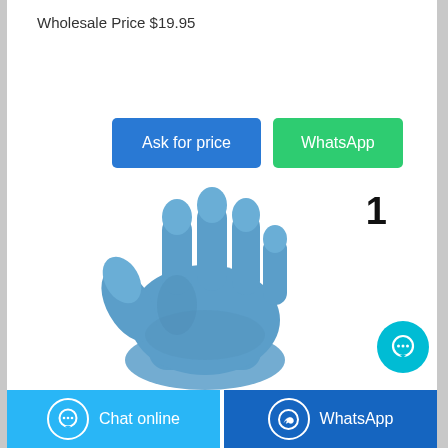Wholesale Price $19.95
[Figure (other): Two call-to-action buttons: blue 'Ask for price' and green 'WhatsApp']
[Figure (photo): A blue nitrile disposable glove with fingers extended upward, product photo on white background. Number '1' appears to the right of the glove.]
[Figure (other): Bottom action bar with cyan 'Chat online' button on the left and dark blue 'WhatsApp' button on the right, each with respective icons.]